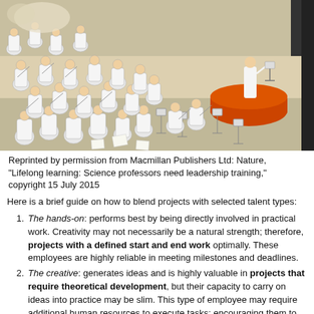[Figure (illustration): Cartoon illustration of a chaotic orchestra scene with many musicians in white coats playing instruments, a conductor on a raised red platform at right, music stands scattered around, drawn in a detailed comic style.]
Reprinted by permission from Macmillan Publishers Ltd: Nature, "Lifelong learning: Science professors need leadership training," copyright 15 July 2015
Here is a brief guide on how to blend projects with selected talent types:
The hands-on: performs best by being directly involved in practical work. Creativity may not necessarily be a natural strength; therefore, projects with a defined start and end work optimally. These employees are highly reliable in meeting milestones and deadlines.
The creative: generates ideas and is highly valuable in projects that require theoretical development, but their capacity to carry on ideas into practice may be slim. This type of employee may require additional human resources to execute tasks; encouraging them to